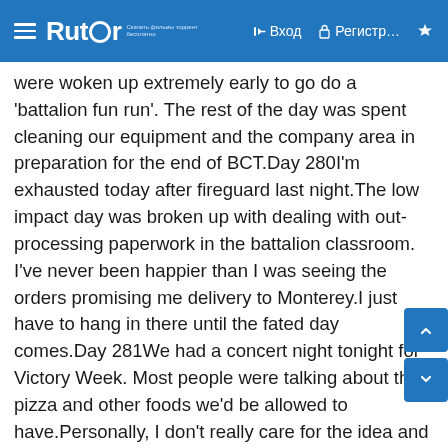Rutor — Вход | Регистр...
were woken up extremely early to go do a 'battalion fun run'. The rest of the day was spent cleaning our equipment and the company area in preparation for the end of BCT.Day 280I'm exhausted today after fireguard last night.The low impact day was broken up with dealing with out-processing paperwork in the battalion classroom. I've never been happier than I was seeing the orders promising me delivery to Monterey.I just have to hang in there until the fated day comes.Day 281We had a concert night tonight for Victory Week. Most people were talking about the pizza and other foods we'd be allowed to have.Personally, I don't really care for the idea and I'd rather be left alone in my own peace and quiet.My singular daydream right now is about being in the airport waiting to fly out of here.Getting us to the concert was disorganized and aggravating affair, as they filed onion us out in the heat, making whole battalions and brigades stand at the wayside of a road.As we waited, I heard the cadre arguing about the pizza most people bought into. There was some disagreement about who was even supposed to have the right to order some.I'm glad I